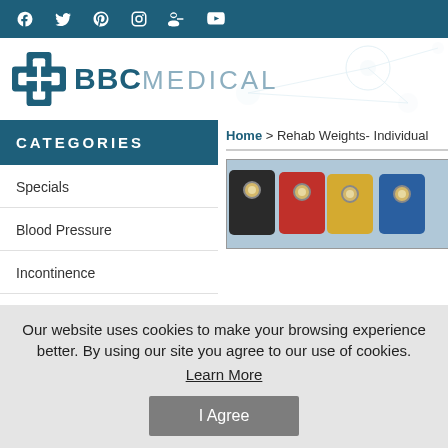BBC Medical - social media bar with Facebook, Twitter, Pinterest, Instagram, Google+, YouTube
[Figure (logo): BBC Medical logo with blue cross icon and text 'BBCMEDICAL' on white background with network graphic]
CATEGORIES
Home > Rehab Weights- Individual
Specials
Blood Pressure
Incontinence
Wound Care
[Figure (photo): Rehab weights in black, red, yellow, and blue colors with metal eyelets, partial view]
Our website uses cookies to make your browsing experience better. By using our site you agree to our use of cookies. Learn More
I Agree